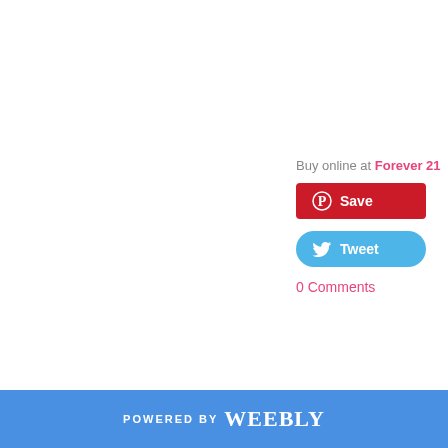Buy online at Forever 21
Save
Tweet
0 Comments
POWERED BY weebly